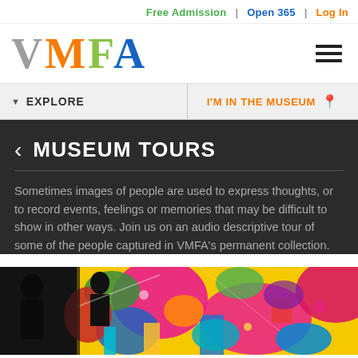Free Admission | Open 365 | Log In
[Figure (logo): VMFA logo with letters V (gray), M (orange), F (green), A (blue) in large serif font]
EXPLORE
I'M IN THE MUSEUM
< MUSEUM TOURS
Sometimes images of people are used to express thoughts, or to record events, feelings or memories that may be difficult to show in other ways. Join us on an audio descriptive tour of some of the people captured in VMFA's permanent collection.
[Figure (illustration): Colorful abstract/pop-art style artwork with bright pinks, yellows, blues, greens showing figures and patterns]